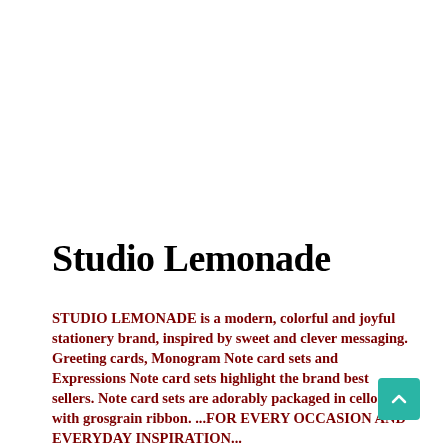Studio Lemonade
STUDIO LEMONADE is a modern, colorful and joyful stationery brand, inspired by sweet and clever messaging. Greeting cards, Monogram Note card sets and Expressions Note card sets highlight the brand best sellers. Note card sets are adorably packaged in cello bag with grosgrain ribbon. ...FOR EVERY OCCASION AND EVERYDAY INSPIRATION...